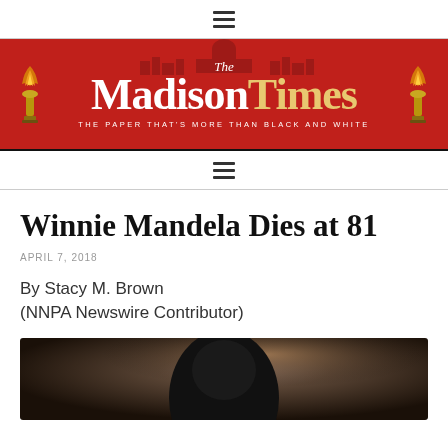☰ (navigation menu icon)
[Figure (logo): The Madison Times newspaper banner logo — red background with city skyline silhouette, torch icons on left and right, large white and gold text reading 'The Madison Times', tagline 'THE PAPER THAT\'S MORE THAN BLACK AND WHITE']
☰ (navigation menu icon)
Winnie Mandela Dies at 81
APRIL 7, 2018
By Stacy M. Brown
(NNPA Newswire Contributor)
[Figure (photo): Blurred/bokeh photograph showing a dark silhouette of a person's head]